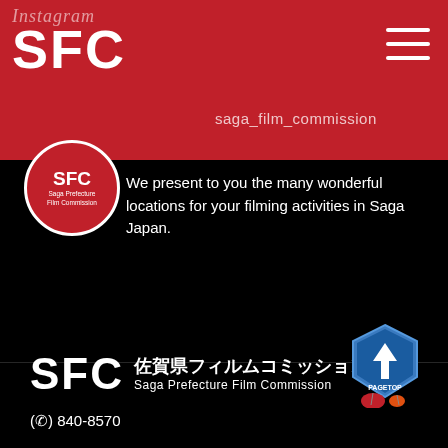instagram
SFC
saga_film_commission
[Figure (logo): SFC Saga Prefecture Film Commission circular red logo]
We present to you the many wonderful locations for your filming activities in Saga Japan.
[Figure (logo): SFC 佐賀県フィルムコミッション Saga Prefecture Film Commission footer logo]
(☎) 840-8570
[Figure (illustration): Page top button badge with arrow icon]